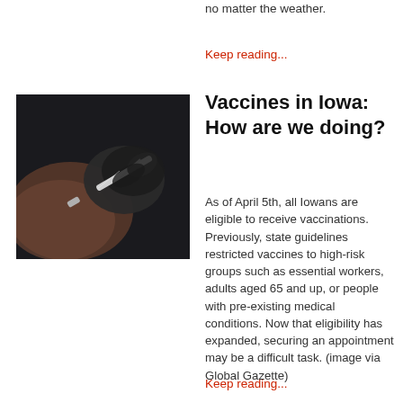no matter the weather.
Keep reading...
[Figure (photo): A gloved hand holding a syringe near a person's arm, preparing to administer a vaccine injection, dark background.]
Vaccines in Iowa: How are we doing?
As of April 5th, all Iowans are eligible to receive vaccinations. Previously, state guidelines restricted vaccines to high-risk groups such as essential workers, adults aged 65 and up, or people with pre-existing medical conditions. Now that eligibility has expanded, securing an appointment may be a difficult task. (image via Global Gazette)
Keep reading...